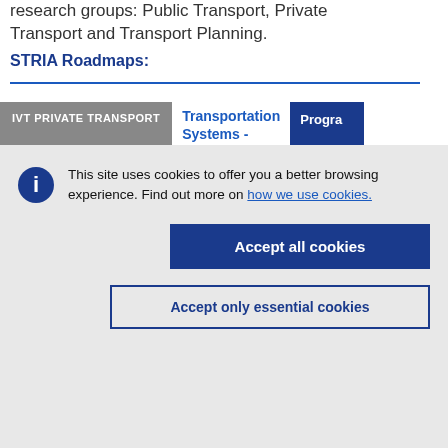research groups: Public Transport, Private Transport and Transport Planning.
STRIA Roadmaps:
IVT PRIVATE TRANSPORT
Transportation Systems -
Program
This site uses cookies to offer you a better browsing experience. Find out more on how we use cookies.
Accept all cookies
Accept only essential cookies